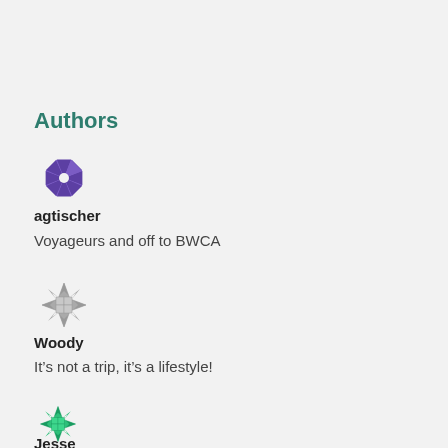Authors
[Figure (logo): Purple geometric star/pinwheel logo for user agtischer]
agtischer
Voyageurs and off to BWCA
[Figure (logo): Gray geometric quilted star/snowflake logo for user Woody]
Woody
It’s not a trip, it’s a lifestyle!
[Figure (logo): Green geometric quilted star/snowflake logo for user Jesse]
Jesse